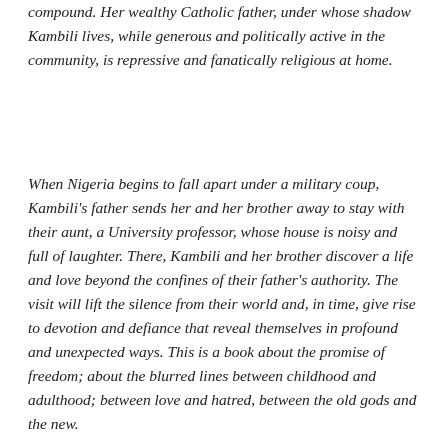compound. Her wealthy Catholic father, under whose shadow Kambili lives, while generous and politically active in the community, is repressive and fanatically religious at home.
When Nigeria begins to fall apart under a military coup, Kambili's father sends her and her brother away to stay with their aunt, a University professor, whose house is noisy and full of laughter. There, Kambili and her brother discover a life and love beyond the confines of their father's authority. The visit will lift the silence from their world and, in time, give rise to devotion and defiance that reveal themselves in profound and unexpected ways. This is a book about the promise of freedom; about the blurred lines between childhood and adulthood; between love and hatred, between the old gods and the new.